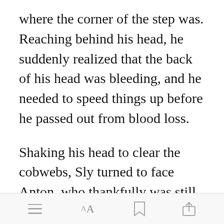where the corner of the step was. Reaching behind his head, he suddenly realized that the back of his head was bleeding, and he needed to speed things up before he passed out from blood loss.
Shaking his head to clear the cobwebs, Sly turned to face Anton, who thankfully was still recovering from accidentally slipping on the
[Figure (screenshot): Green 'Open in app' button overlay on text]
Toolbar with menu, font size, bookmark, and share icons